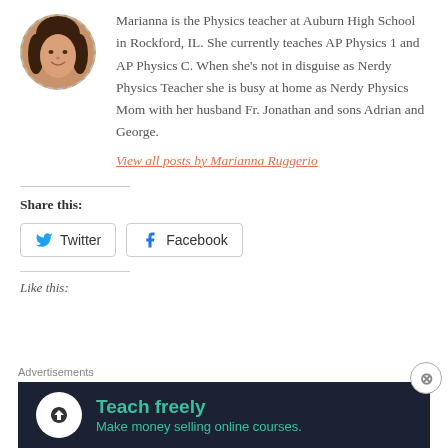[Figure (photo): Circular profile photo of Marianna Ruggerio with dashed border]
Marianna is the Physics teacher at Auburn High School in Rockford, IL. She currently teaches AP Physics 1 and AP Physics C. When she’s not in disguise as Nerdy Physics Teacher she is busy at home as Nerdy Physics Mom with her husband Fr. Jonathan and sons Adrian and George.
View all posts by Marianna Ruggerio
Share this:
Twitter
Facebook
Like this:
Advertisements
[Figure (screenshot): Advertisement banner for Teach freely - Make money selling online courses on dark background]